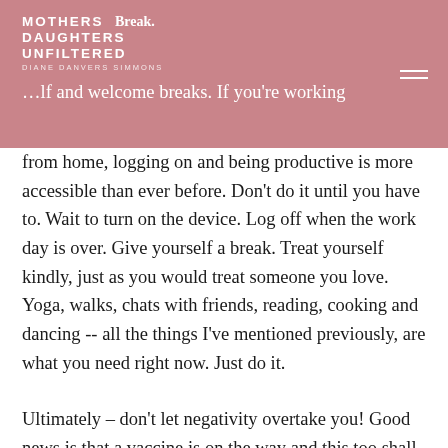MOTHERS & DAUGHTERS UNFILTERED | Break. | DIANE DANVERS SIMMONS
…lf and welcome breaks. If you're working from home, logging on and being productive is more accessible than ever before. Don't do it until you have to. Wait to turn on the device. Log off when the work day is over. Give yourself a break. Treat yourself kindly, just as you would treat someone you love. Yoga, walks, chats with friends, reading, cooking and dancing -- all the things I've mentioned previously, are what you need right now. Just do it.
Ultimately – don't let negativity overtake you! Good news is that a vaccine is on the way and this too shall pass. Take a look at history; the human race has